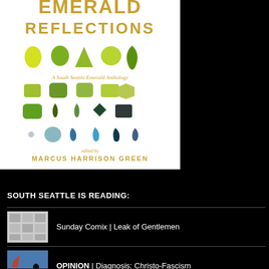[Figure (illustration): Book cover for 'Emerald Reflections: A South Seattle Emerald Anthology' edited by Marcus Harrison Green, showing various green gemstones arranged in rows on a white background with gold/orange title text.]
SOUTH SEATTLE IS READING:
[Figure (photo): Thumbnail image for Sunday Comix article showing a grid of small comic-style illustrations]
Sunday Comix | Leak of Gentlemen
[Figure (photo): Thumbnail image for Opinion article showing a silhouette against a sky with red/orange tones]
OPINION | Diagnosis: Christo-Fascism
[Figure (photo): Thumbnail image for third article, partially visible]